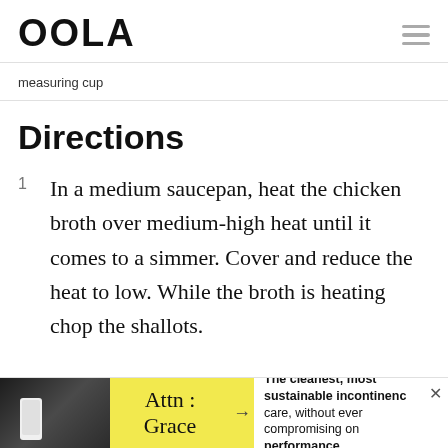OOLA
measuring cup
Directions
1  In a medium saucepan, heat the chicken broth over medium-high heat until it comes to a simmer. Cover and reduce the heat to low. While the broth is heating chop the shallots.
[Figure (other): Advertisement banner: Attn : Grace incontinence care product ad with text 'The cleanest, most sustainable incontinence care, without ever compromising on performance.']